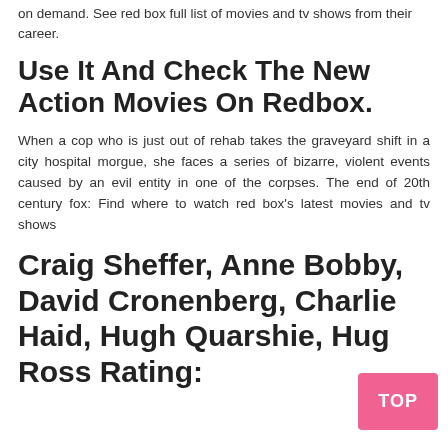on demand. See red box full list of movies and tv shows from their career.
Use It And Check The New Action Movies On Redbox.
When a cop who is just out of rehab takes the graveyard shift in a city hospital morgue, she faces a series of bizarre, violent events caused by an evil entity in one of the corpses. The end of 20th century fox: Find where to watch red box’s latest movies and tv shows
Craig Sheffer, Anne Bobby, David Cronenberg, Charlie Haid, Hugh Quarshie, Hug Ross Rating: